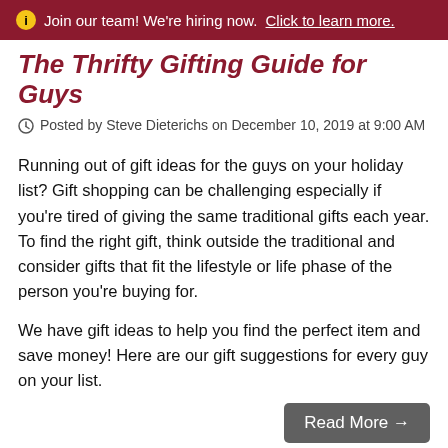Join our team! We're hiring now. Click to learn more.
The Thrifty Gifting Guide for Guys
Posted by Steve Dieterichs on December 10, 2019 at 9:00 AM
Running out of gift ideas for the guys on your holiday list? Gift shopping can be challenging especially if you're tired of giving the same traditional gifts each year. To find the right gift, think outside the traditional and consider gifts that fit the lifestyle or life phase of the person you're buying for.
We have gift ideas to help you find the perfect item and save money! Here are our gift suggestions for every guy on your list.